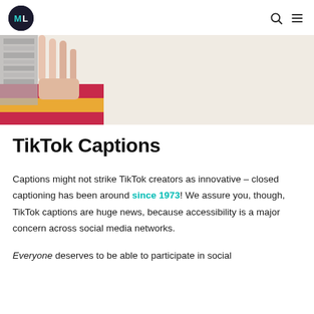ML logo, search icon, menu icon
[Figure (photo): Hero banner image showing a hand with fingers raised against a colorful collage background with pink, yellow, and black-and-white patterns on a beige/cream background.]
TikTok Captions
Captions might not strike TikTok creators as innovative – closed captioning has been around since 1973! We assure you, though, TikTok captions are huge news, because accessibility is a major concern across social media networks.
Everyone deserves to be able to participate in social